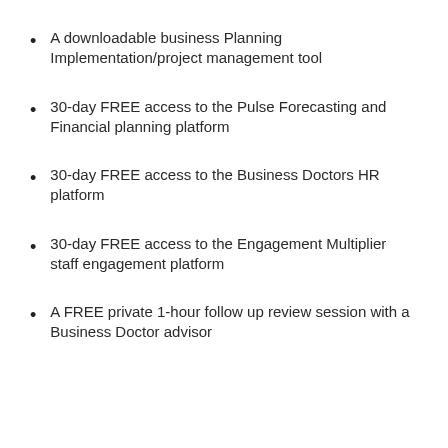A downloadable business Planning Implementation/project management tool
30-day FREE access to the Pulse Forecasting and Financial planning platform
30-day FREE access to the Business Doctors HR platform
30-day FREE access to the Engagement Multiplier staff engagement platform
A FREE private 1-hour follow up review session with a Business Doctor advisor